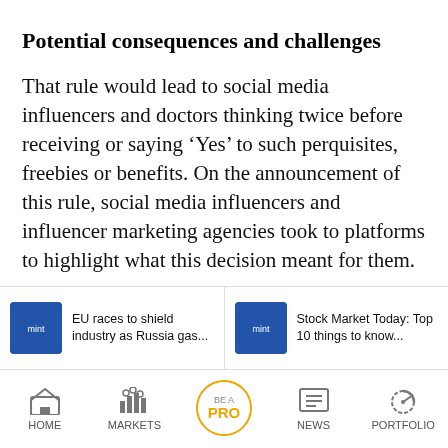Potential consequences and challenges
That rule would lead to social media influencers and doctors thinking twice before receiving or saying ‘Yes’ to such perquisites, freebies or benefits. On the announcement of this rule, social media influencers and influencer marketing agencies took to platforms to highlight what this decision meant for them.
[Figure (screenshot): Related article thumbnail: EU races to shield industry as Russia gas...]
EU races to shield industry as Russia gas...
[Figure (screenshot): Related article thumbnail: Stock Market Today: Top 10 things to know...]
Stock Market Today: Top 10 things to know...
HOME   MARKETS   BE A PRO   NEWS   PORTFOLIO